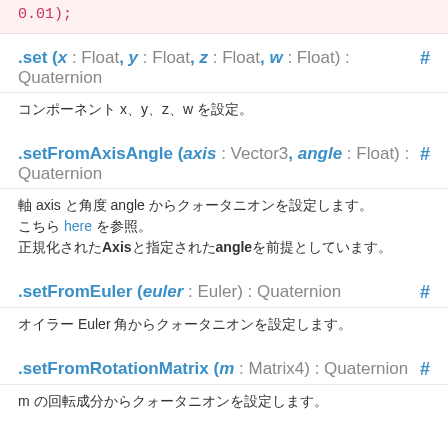0.01);
.set (x : Float, y : Float, z : Float, w : Float) : Quaternion #
コンポーネント x、y、z、w を設定。
.setFromAxisAngle (axis : Vector3, angle : Float) : Quaternion #
軸 axis と角度 angle からクォータニオンを設定します。
こちら here を参照。
正規化されたAxisと指定されたangleを前提としています。
.setFromEuler (euler : Euler) : Quaternion #
オイラー Euler 角からクォータニオンを設定します。
.setFromRotationMatrix (m : Matrix4) : Quaternion #
m の回転成分からクォータニオンを設定します。